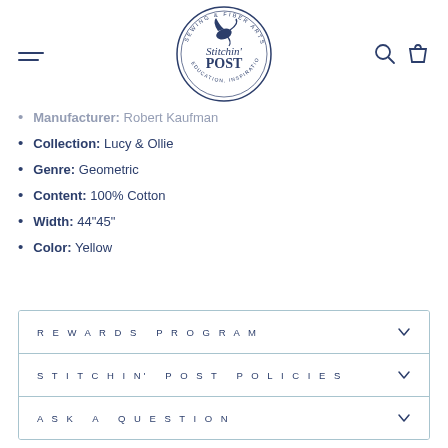Stitchin' Post — Sewing & Fiber Arts navigation header with logo, hamburger menu, search and cart icons
Manufacturer: Robert Kaufman
Collection: Lucy & Ollie
Genre: Geometric
Content: 100% Cotton
Width: 44"45"
Color: Yellow
REWARDS PROGRAM
STITCHIN' POST POLICIES
ASK A QUESTION